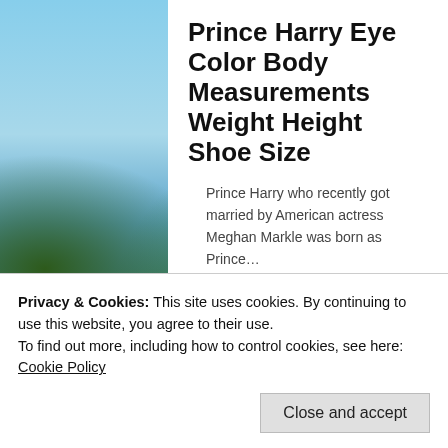[Figure (photo): Tropical beach background with palm trees, sandy shore, and blue sky/water]
Prince Harry Eye Color Body Measurements Weight Height Shoe Size
Prince Harry who recently got married by American actress Meghan Markle was born as Prince…
by Angel — May 26, 2018 in Prince
Privacy & Cookies: This site uses cookies. By continuing to use this website, you agree to their use.
To find out more, including how to control cookies, see here: Cookie Policy